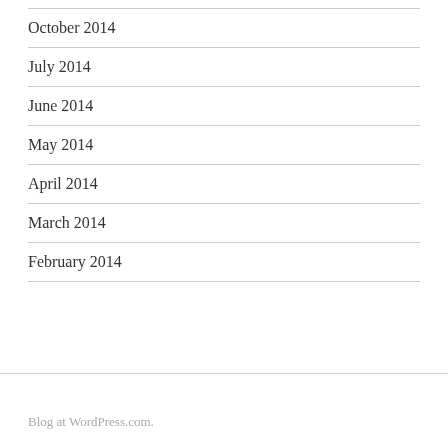October 2014
July 2014
June 2014
May 2014
April 2014
March 2014
February 2014
Blog at WordPress.com.